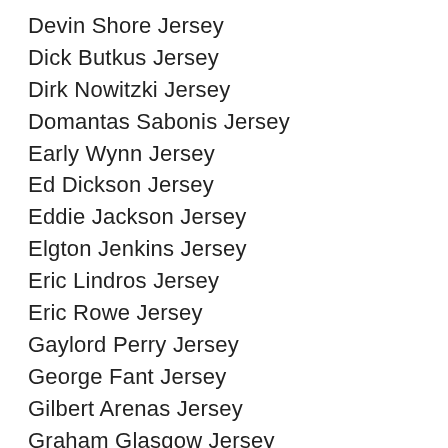Devin Shore Jersey
Dick Butkus Jersey
Dirk Nowitzki Jersey
Domantas Sabonis Jersey
Early Wynn Jersey
Ed Dickson Jersey
Eddie Jackson Jersey
Elgton Jenkins Jersey
Eric Lindros Jersey
Eric Rowe Jersey
Gaylord Perry Jersey
George Fant Jersey
Gilbert Arenas Jersey
Graham Glasgow Jersey
Gregory Polanco Jersey
Haydn Fleury Jersey
Home  Jersey
Hunter Renfroe Jersey